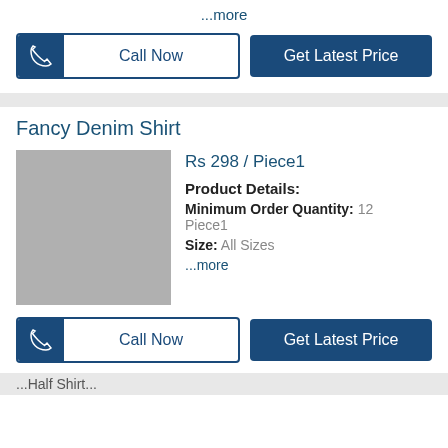...more
Call Now
Get Latest Price
Fancy Denim Shirt
[Figure (photo): Gray placeholder image for Fancy Denim Shirt product]
Rs 298 / Piece1
Product Details:
Minimum Order Quantity: 12 Piece1
Size: All Sizes
...more
Call Now
Get Latest Price
...Half Shirt...